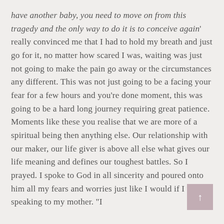have another baby, you need to move on from this tragedy and the only way to do it is to conceive again' really convinced me that I had to hold my breath and just go for it, no matter how scared I was, waiting was just not going to make the pain go away or the circumstances any different. This was not just going to be a facing your fear for a few hours and you're done moment, this was going to be a hard long journey requiring great patience. Moments like these you realise that we are more of a spiritual being then anything else. Our relationship with our maker, our life giver is above all else what gives our life meaning and defines our toughest battles. So I prayed. I spoke to God in all sincerity and poured onto him all my fears and worries just like I would if I were speaking to my mother. "I